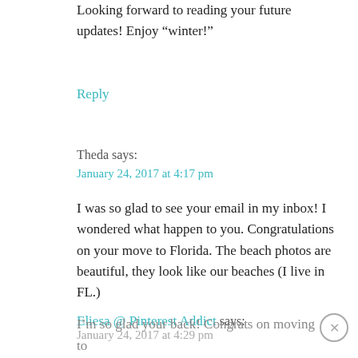Looking forward to reading your future updates! Enjoy “winter!”
Reply
Theda says:
January 24, 2017 at 4:17 pm
I was so glad to see your email in my inbox! I wondered what happen to you. Congratulations on your move to Florida. The beach photos are beautiful, they look like our beaches (I live in FL.)
Reply
Eliesa @ Pinterest Addict says:
January 24, 2017 at 4:29 pm
I’m so glad your back! Congrats on moving to